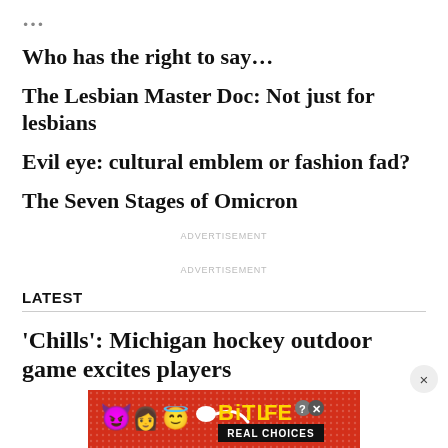...
Who has the right to say...
The Lesbian Master Doc: Not just for lesbians
Evil eye: cultural emblem or fashion fad?
The Seven Stages of Omicron
ADVERTISEMENT
ADVERTISEMENT
LATEST
'Chills': Michigan hockey outdoor game excites players
[Figure (illustration): BitLife mobile game advertisement banner with emojis (devil, woman, angel emoji, sperm emoji) and yellow BitLife logo text on red background with 'REAL CHOICES' subtitle in black bar.]